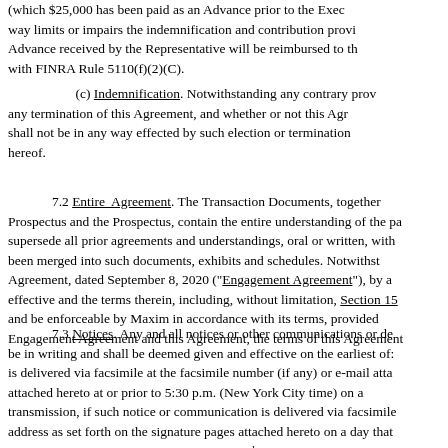(which $25,000 has been paid as an Advance prior to the Execution Date), in no way limits or impairs the indemnification and contribution provisions hereof. Any such Advance received by the Representative will be reimbursed to the Company in accordance with FINRA Rule 5110(f)(2)(C).
(c) Indemnification. Notwithstanding any contrary provision contained in this Agreement, any termination of this Agreement, and whether or not this Agreement is consummated, shall not be in any way effected by such election or termination or affect the provisions hereof.
7.2 Entire Agreement. The Transaction Documents, together with the Preliminary Prospectus and the Prospectus, contain the entire understanding of the parties thereto and supersede all prior agreements and understandings, oral or written, with respect to such matters, been merged into such documents, exhibits and schedules. Notwithstanding the foregoing, that Agreement, dated September 8, 2020 ("Engagement Agreement"), by and between the parties shall be effective and the terms therein, including, without limitation, Section 15 thereof, shall remain in full force and be enforceable by Maxim in accordance with its terms, provided that in the event of a conflict between the Engagement Agreement and this Agreement, the terms of this Agreement shall govern and control.
7.3 Notices. Any and all notices or other communications or demands required or permitted to be in writing and shall be deemed given and effective on the earliest of: (a) the date of transmission, if such notice is delivered via facsimile at the facsimile number (if any) or e-mail attachment to the e-mail address attached hereto at or prior to 5:30 p.m. (New York City time) on any Trading Day, (b) the next Trading Day after the date of transmission, if such notice or communication is delivered via facsimile at the facsimile number or via e-mail address as set forth on the signature pages attached hereto on a day that is not a Trading Day or later than 5:30 p.m. (New York City time) on any Trading Day, (c) the second (2nd) Trading Day following the date of mailing, if sent by U.S. nationally recognized overnight courier service or (d) upon actual receipt by the party to whom such notice is required to be given. The addresses for such notices and communications shall be as set forth on the signature pages attached hereto.